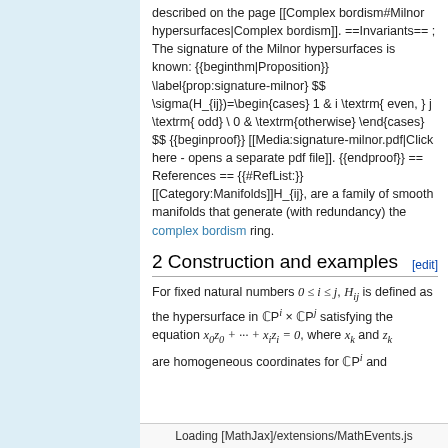described on the page [[Complex bordism#Milnor hypersurfaces|Complex bordism]]. ==Invariants== ; The signature of the Milnor hypersurfaces is known: {{beginthm|Proposition}} \label{prop:signature-milnor} $$ \sigma(H_{ij})=\begin{cases} 1 & i \textrm{ even, } j \textrm{ odd} \ 0 & \textrm{otherwise} \end{cases} $$ {{beginproof}} [[Media:signature-milnor.pdf|Click here - opens a separate pdf file]]. {{endproof}} == References == {{#RefList:}} [[Category:Manifolds]]H_{ij}, are a family of smooth manifolds that generate (with redundancy) the complex bordism ring.
2 Construction and examples
For fixed natural numbers 0 ≤ i ≤ j, H_{ij} is defined as the hypersurface in ℂP^i × ℂP^j satisfying the equation x_0 z_0 + ... + x_i z_i = 0, where x_k and z_k are homogeneous coordinates for ℂP^i and
Loading [MathJax]/extensions/MathEvents.js